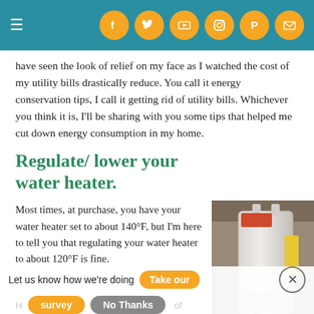≡  [social icons: facebook, twitter, youtube, instagram, pinterest, email]
have seen the look of relief on my face as I watched the cost of my utility bills drastically reduce. You call it energy conservation tips, I call it getting rid of utility bills. Whichever you think it is, I'll be sharing with you some tips that helped me cut down energy consumption in my home.
Regulate/ lower your water heater.
[Figure (photo): A white residential water heater tank photographed against a basement wall, with yellow EnergyGuide label and red warning label visible.]
Most times, at purchase, you have your water heater set to about 140°F, but I'm here to tell you that regulating your water heater to about 120°F is fine.
Let us know how we're doing   Take our
survey   No Thanks